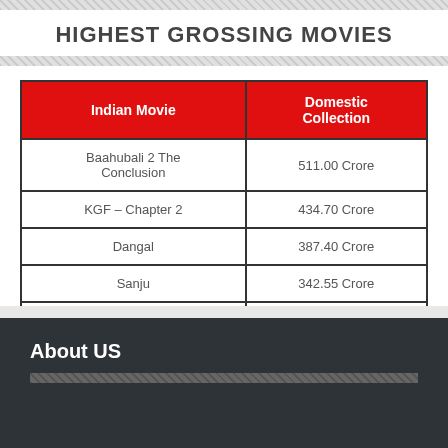HIGHEST GROSSING MOVIES
| Indian Movie | Domestic Collection |
| --- | --- |
| Baahubali 2 The Conclusion | 511.00 Crore |
| KGF – Chapter 2 | 434.70 Crore |
| Dangal | 387.40 Crore |
| Sanju | 342.55 Crore |
| PK | 340.80 Crore |
See more box office results >>
About US